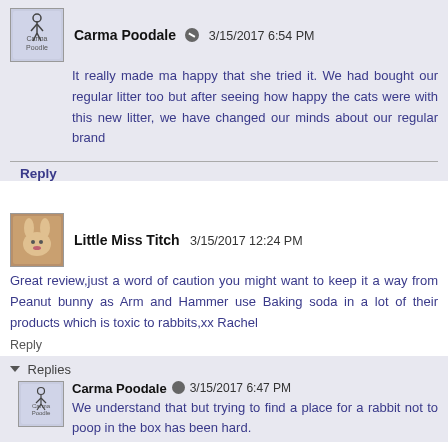Carma Poodale  3/15/2017 6:54 PM
It really made ma happy that she tried it. We had bought our regular litter too but after seeing how happy the cats were with this new litter, we have changed our minds about our regular brand
Reply
Little Miss Titch  3/15/2017 12:24 PM
Great review,just a word of caution you might want to keep it a way from Peanut bunny as Arm and Hammer use Baking soda in a lot of their products which is toxic to rabbits,xx Rachel
Reply
Replies
Carma Poodale  3/15/2017 6:47 PM
We understand that but trying to find a place for a rabbit not to poop in the box has been hard.